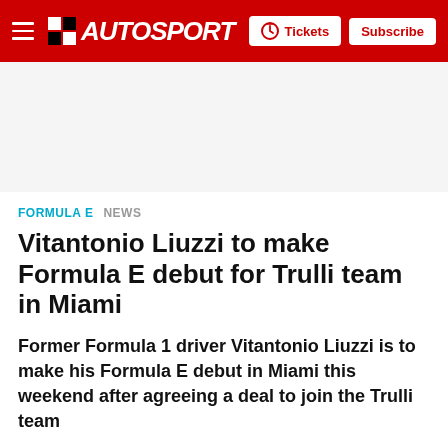AUTOSPORT — Tickets | Subscribe
FORMULA E   NEWS
Vitantonio Liuzzi to make Formula E debut for Trulli team in Miami
Former Formula 1 driver Vitantonio Liuzzi is to make his Formula E debut in Miami this weekend after agreeing a deal to join the Trulli team
Mar 12, 2015, 6:40 PM